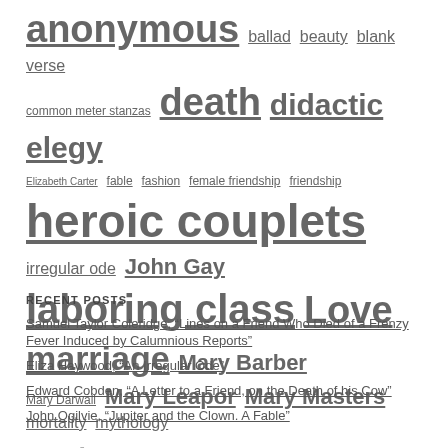anonymous ballad beauty blank verse common meter stanzas death didactic elegy Elizabeth Carter fable fashion female friendship friendship heroic couplets irregular ode John Gay laboring class Love marriage Mary Barber Mary Darwall Mary Leapor Mary Masters mortality mythology nature occasional poem occasional verse ode panegyric pastoral patronage periodical verse Phillis Wheatley poetry religion satire sestets tetrameter couplets verse epistle virtue women
RECENT POSTS
Samuel Taylor Coleridge, “Lines on a Friend Who Died of a Frenzy Fever Induced by Calumnious Reports”
Eliza Haywood, “An Irregular Ode”
Edward Cobden, “A Letter to a Friend, on the Death of his Cow”
John Ogilvie, “Jupiter and the Clown. A Fable”